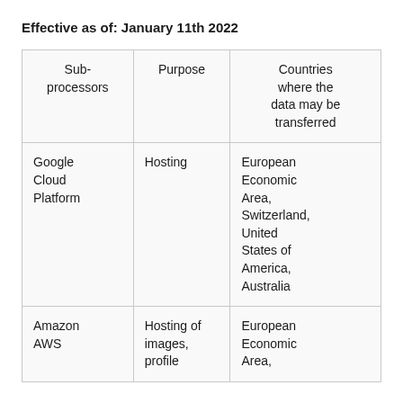Effective as of: January 11th 2022
| Sub-processors | Purpose | Countries where the data may be transferred |
| --- | --- | --- |
| Google Cloud Platform | Hosting | European Economic Area, Switzerland, United States of America, Australia |
| Amazon AWS | Hosting of images, profile | European Economic Area, |